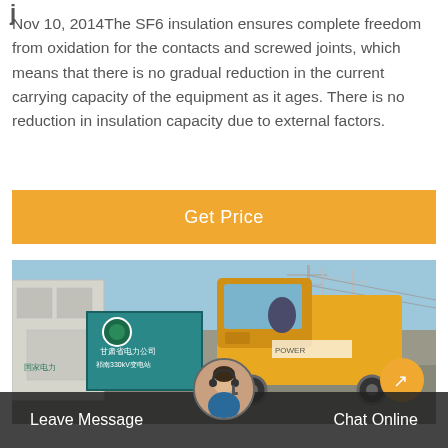Nov 10, 2014The SF6 insulation ensures complete freedom from oxidation for the contacts and screwed joints, which means that there is no gradual reduction in the current carrying capacity of the equipment as it ages. There is no reduction in insulation capacity due to external factors.
[Figure (other): Orange 'Get Price' button bar]
[Figure (photo): Photo of a yellow truck parked near a teal signboard (Chinese text: 甘肃省电力公司, 祁南330kV变电站) and a white building, with power transmission towers visible in the background under a blue sky.]
Leave Message
Chat Online